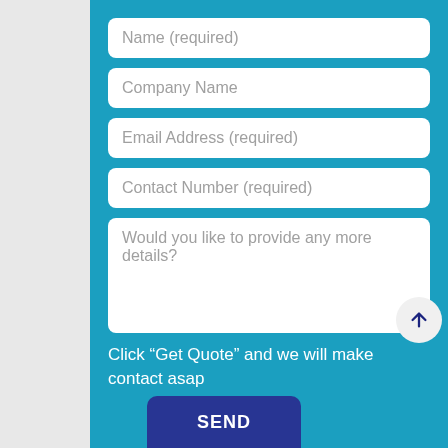Name (required)
Company Name
Email Address (required)
Contact Number (required)
Would you like to provide any more details?
Click “Get Quote” and we will make contact asap
SEND